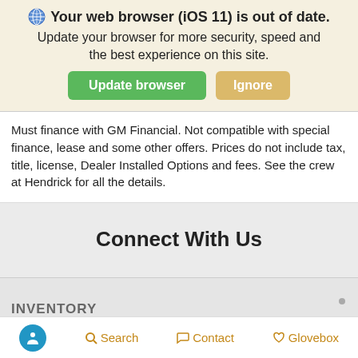🌐 Your web browser (iOS 11) is out of date. Update your browser for more security, speed and the best experience on this site. Update browser  Ignore
Must finance with GM Financial. Not compatible with special finance, lease and some other offers. Prices do not include tax, title, license, Dealer Installed Options and fees. See the crew at Hendrick for all the details.
Connect With Us
INVENTORY
♿ Search  Contact  Glovebox